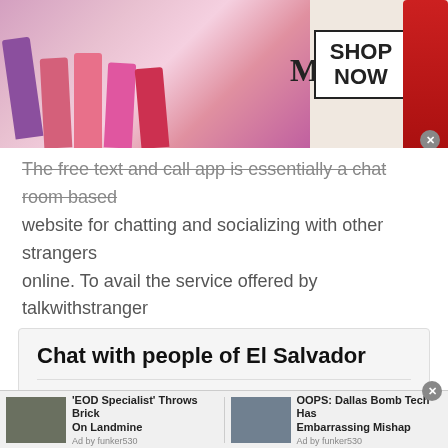[Figure (screenshot): MAC Cosmetics advertisement banner with lipsticks and SHOP NOW button]
The free text and call app is essentially a chat room based website for chatting and socializing with other strangers online. To avail the service offered by talkwithstranger you can use voice chat based chat rooms or try the text chat rooms as per your choice.
Chat with people of El Salvador
Remember those old days when talking to a
[Figure (screenshot): Bottom advertisement strip with two ad items: 'EOD Specialist Throws Brick On Landmine' and 'OOPS: Dallas Bomb Tech Has Embarrassing Mishap', both from funker530]